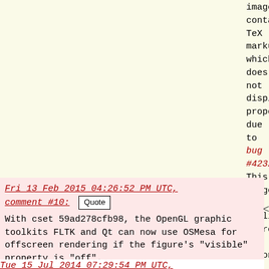image contains TeX markup, which does not display properly due to bug #42320. This image is explicitly there to demonstrate TeX markup working properly. So before the release, either bug #42320 should be fixed or cset 1170c849952b should be reverted.

Can you say what is required about OSMesa 9.0.0? A specific API call? Some bug in earlier versions of OSMesa? What will happen if I try to use this new capability with an older version?
Fri 13 Feb 2015 04:26:52 PM UTC, comment #10: [Quote]
With cset 59ad278cfb98, the OpenGL graphic toolkits FLTK and Qt can now use OSMesa for offscreen rendering if the figure's "visible" property is "off".

This needs OSMesa >= 9.0.0, on Debian Jessie "libosmesa6-dev".
Tue 15 Jul 2014 07:29:54 PM UTC,